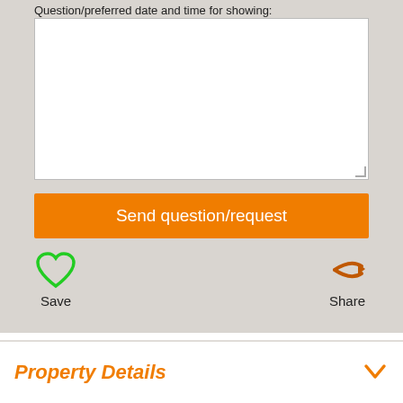Question/preferred date and time for showing:
Send question/request
Save
Share
Property Details